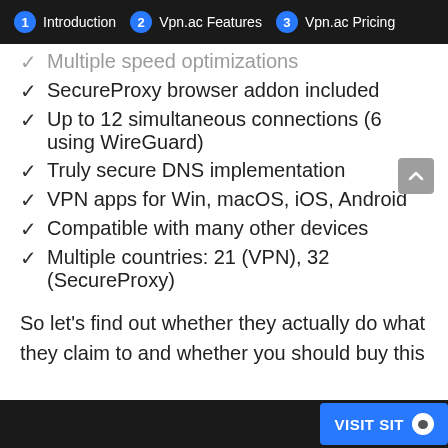1 Introduction  2 Vpn.ac Features  3 Vpn.ac Pricing
Multiple speed optimizations
SecureProxy browser addon included
Up to 12 simultaneous connections (6 using WireGuard)
Truly secure DNS implementation
VPN apps for Win, macOS, iOS, Android
Compatible with many other devices
Multiple countries: 21 (VPN), 32 (SecureProxy)
So let's find out whether they actually do what they claim to and whether you should buy this
VISIT SITE